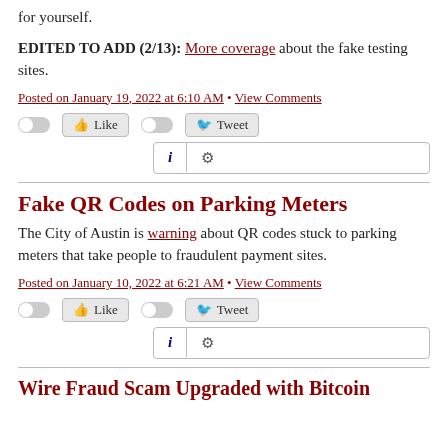for yourself.
EDITED TO ADD (2/13): More coverage about the fake testing sites.
Posted on January 19, 2022 at 6:10 AM • View Comments
[Figure (other): Social media sharing buttons: Like toggle and button, Tweet toggle and button, info and gear icon widget]
Fake QR Codes on Parking Meters
The City of Austin is warning about QR codes stuck to parking meters that take people to fraudulent payment sites.
Posted on January 10, 2022 at 6:21 AM • View Comments
[Figure (other): Social media sharing buttons: Like toggle and button, Tweet toggle and button, info and gear icon widget]
Wire Fraud Scam Upgraded with Bitcoin